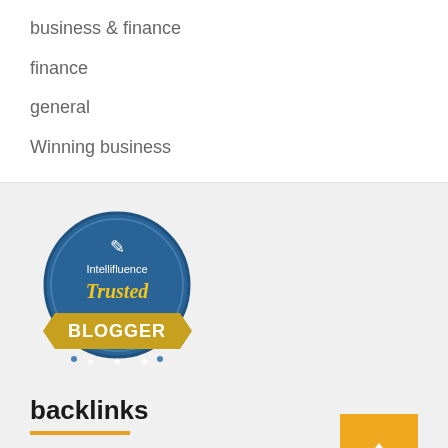business & finance
finance
general
Winning business
[Figure (logo): Intellifluence Trusted Blogger badge — circular blue seal with yellow ribbon banner reading BLOGGER and 'Trusted' in yellow script text]
backlinks
textlinks